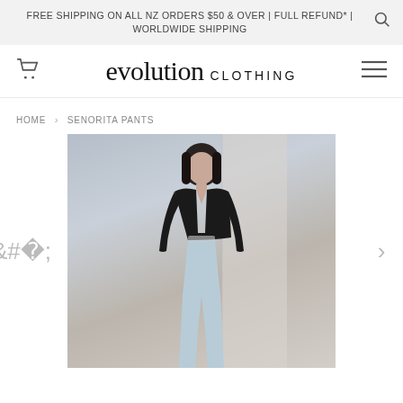FREE SHIPPING ON ALL NZ ORDERS $50 & OVER | FULL REFUND* | WORLDWIDE SHIPPING
evolution CLOTHING
HOME › SENORITA PANTS
[Figure (photo): A woman with short dark hair wearing a black long-sleeve crop top and light blue wide-leg pants, standing in front of a neutral background. Product photo for Senorita Pants.]